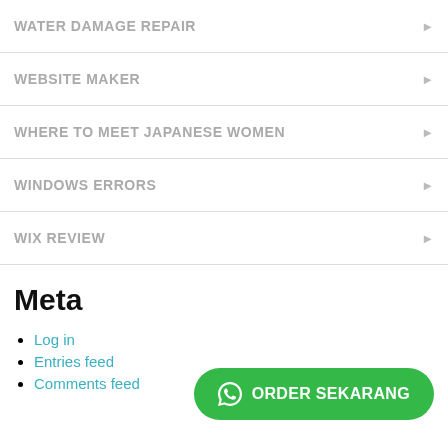WATER DAMAGE REPAIR
WEBSITE MAKER
WHERE TO MEET JAPANESE WOMEN
WINDOWS ERRORS
WIX REVIEW
Meta
Log in
Entries feed
Comments feed